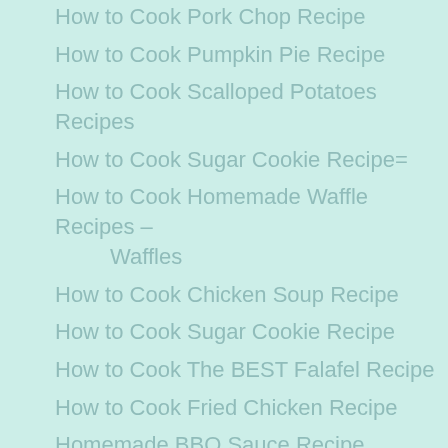How to Cook Pork Chop Recipe
How to Cook Pumpkin Pie Recipe
How to Cook Scalloped Potatoes Recipes
How to Cook Sugar Cookie Recipe=
How to Cook Homemade Waffle Recipes – Waffles
How to Cook Chicken Soup Recipe
How to Cook Sugar Cookie Recipe
How to Cook The BEST Falafel Recipe
How to Cook Fried Chicken Recipe
Homemade BBQ Sauce Recipe
Homemade Ceviche Recipe
How to Cook Cinnamon Roll Recipe
How to Cook Ground Turkey Recipe